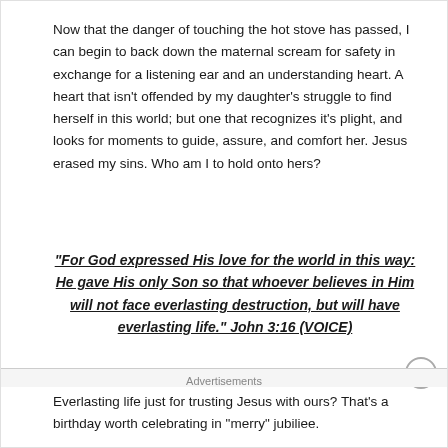Now that the danger of touching the hot stove has passed, I can begin to back down the maternal scream for safety in exchange for a listening ear and an understanding heart. A heart that isn't offended by my daughter's struggle to find herself in this world; but one that recognizes it's plight, and looks for moments to guide, assure, and comfort her. Jesus erased my sins. Who am I to hold onto hers?
“For God expressed His love for the world in this way: He gave His only Son so that whoever believes in Him will not face everlasting destruction, but will have everlasting life.” John 3:16 (VOICE)
Everlasting life just for trusting Jesus with ours? That's a birthday worth celebrating in "merry" jubiliee.
Advertisements